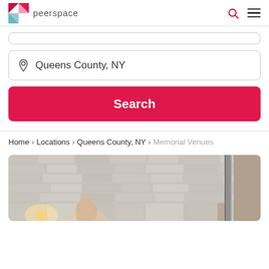peerspace
Queens County, NY
Search
Home › Locations › Queens County, NY › Memorial Venues
[Figure (photo): Interior room with white brick wall, industrial pipes, warm lighting, and a person in the foreground]